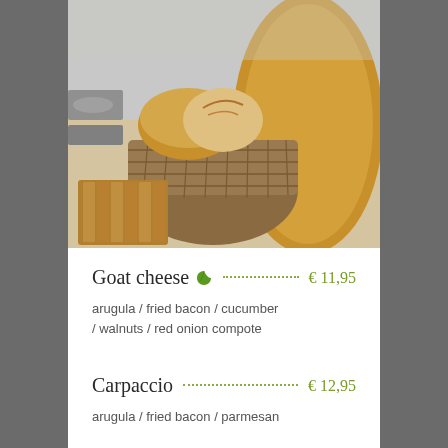[Figure (photo): Bread basket with assorted artisan breads and sliced bread on a cutting board in a bakery setting]
Goat cheese
arugula / fried bacon / cucumber / walnuts / red onion compote
Carpaccio
arugula / fried bacon / parmesan